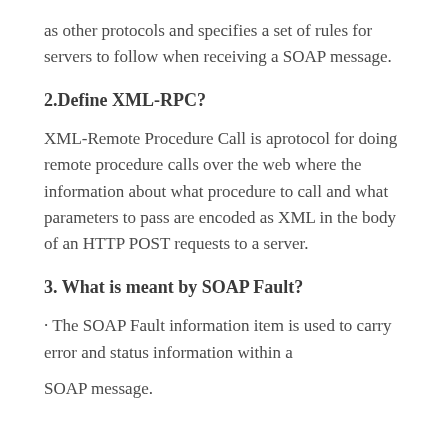as other protocols and specifies a set of rules for servers to follow when receiving a SOAP message.
2.Define XML-RPC?
XML-Remote Procedure Call is aprotocol for doing remote procedure calls over the web where the information about what procedure to call and what parameters to pass are encoded as XML in the body of an HTTP POST requests to a server.
3. What is meant by SOAP Fault?
· The SOAP Fault information item is used to carry error and status information within a
SOAP message.